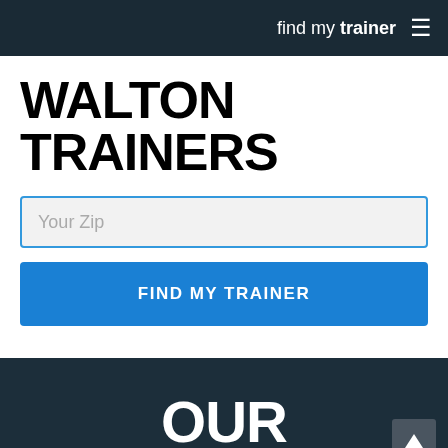find my trainer ☰
WALTON TRAINERS
Your Zip
FIND MY TRAINER
OUR NEBRASKA